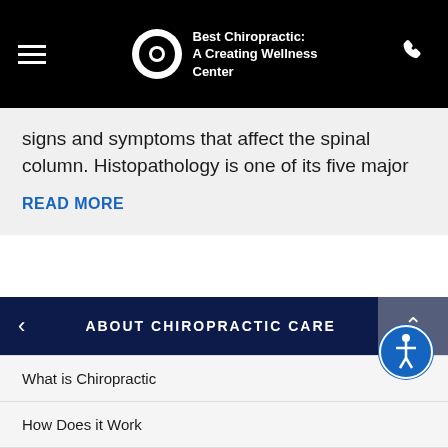Best Chiropractic: A Creating Wellness Center
signs and symptoms that affect the spinal column. Histopathology is one of its five major
READ MORE
ABOUT CHIROPRACTIC CARE
What is Chiropractic
How Does it Work